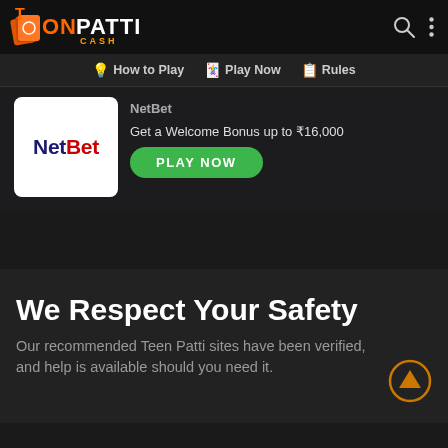TeenPatti Cash — How to Play | Play Now | Rules
[Figure (logo): NetBet logo: white box with 'Net' in dark blue bold and 'Bet' in red bold]
NetBet
Get a Welcome Bonus up to ₹16,000
PLAY NOW
We Respect Your Safety
Our recommended Teen Patti sites have been verified, and help is available should you need it.